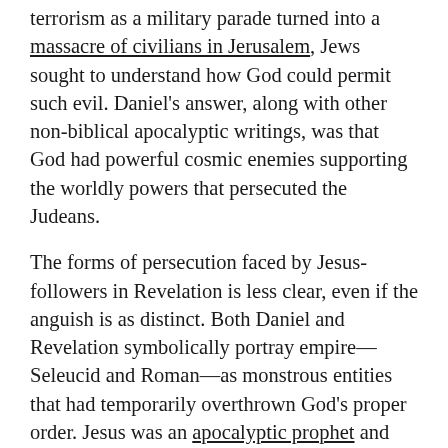terrorism as a military parade turned into a massacre of civilians in Jerusalem, Jews sought to understand how God could permit such evil. Daniel's answer, along with other non-biblical apocalyptic writings, was that God had powerful cosmic enemies supporting the worldly powers that persecuted the Judeans.
The forms of persecution faced by Jesus-followers in Revelation is less clear, even if the anguish is as distinct. Both Daniel and Revelation symbolically portray empire—Seleucid and Roman—as monstrous entities that had temporarily overthrown God's proper order. Jesus was an apocalyptic prophet and such views were baked into early Christianity. Sometimes de-emphasized, apocalypse